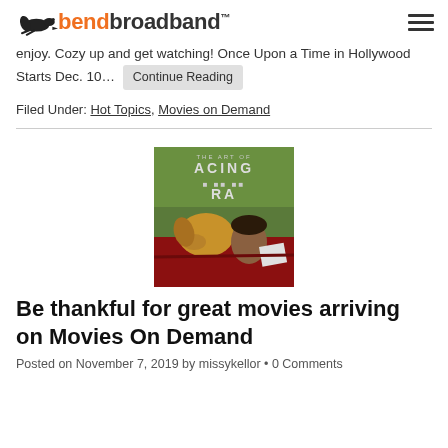bendbroadband
enjoy. Cozy up and get watching! Once Upon a Time in Hollywood Starts Dec. 10...  Continue Reading
Filed Under: Hot Topics, Movies on Demand
[Figure (photo): Movie poster for 'The Art of Racing in the Rain' showing a dog and a man in a red car]
Be thankful for great movies arriving on Movies On Demand
Posted on November 7, 2019 by missykellor • 0 Comments